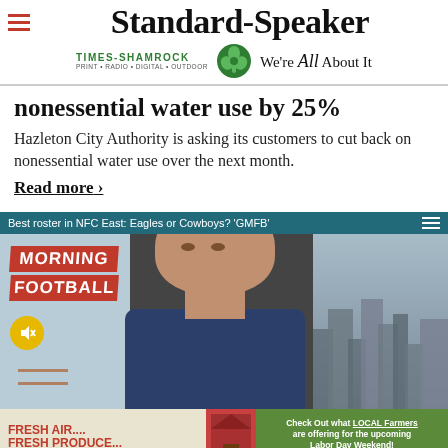Standard-Speaker | TIMES-SHAMROCK PRINT · RADIO · DIGITAL · OUTDOOR | We're All About It
nonessential water use by 25%
Hazleton City Authority is asking its customers to cut back on nonessential water use over the next month.
Read more ›
[Figure (screenshot): Video thumbnail for 'Best roster in NFC East: Eagles or Cowboys? GMFB' showing a Morning Football TV segment with a male host and city skyline backdrop]
[Figure (photo): Advertisement banner: FRESH AIR.... FRESH PRODUCE... FRESH FROM THE FARM! Check Out what LOCAL Farmers are offering for the upcoming Labor Day Weekend! Click for More Info]